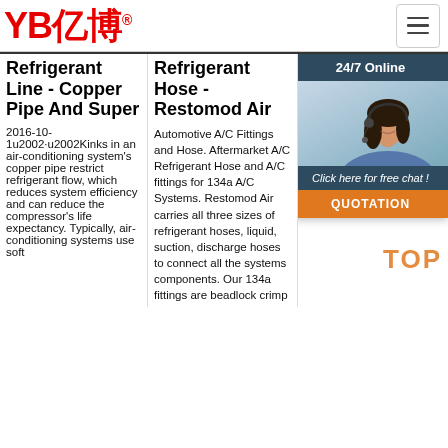YB亿博® [hamburger menu button]
Refrigerant Line - Copper Pipe And Super
2016-10-1u2002·u2002Kinks in an air-conditioning system's copper pipe restrict refrigerant flow, which reduces system efficiency and can reduce the compressor's life expectancy. Typically, air-conditioning systems use soft
Refrigerant Hose - Restomod Air
Automotive A/C Fittings and Hose. Aftermarket A/C Refrigerant Hose and A/C fittings for 134a A/C Systems. Restomod Air carries all three sizes of refrigerant hoses, liquid, suction, discharge hoses to connect all the systems components. Our 134a fittings are beadlock crimp
International
Rub... for c con... inst mo... spe... mad or s... the con... indi... des... a particular type of a car. The angle and shape of the fitting pipe determine how the fitting is attached.
[Figure (photo): 24/7 Online chat widget showing a customer service representative (woman wearing headset) with a dark blue header, free chat link, and orange QUOTATION button]